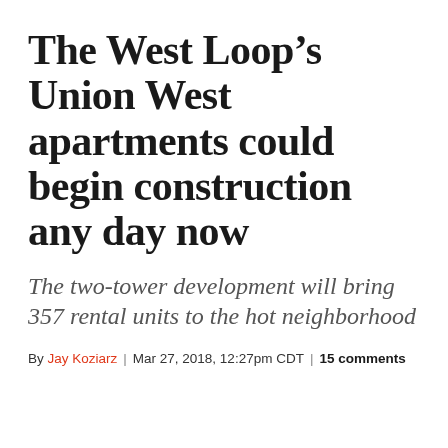The West Loop’s Union West apartments could begin construction any day now
The two-tower development will bring 357 rental units to the hot neighborhood
By Jay Koziarz | Mar 27, 2018, 12:27pm CDT | 15 comments